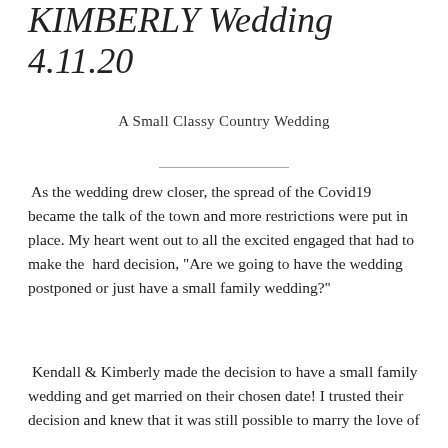KIMBERLY Wedding 4.11.20
A Small Classy Country Wedding
As the wedding drew closer, the spread of the Covid19 became the talk of the town and more restrictions were put in place. My heart went out to all the excited engaged that had to make the hard decision, "Are we going to have the wedding postponed or just have a small family wedding?"
Kendall & Kimberly made the decision to have a small family wedding and get married on their chosen date! I trusted their decision and knew that it was still possible to marry the love of your life and have a beautiful wedding!